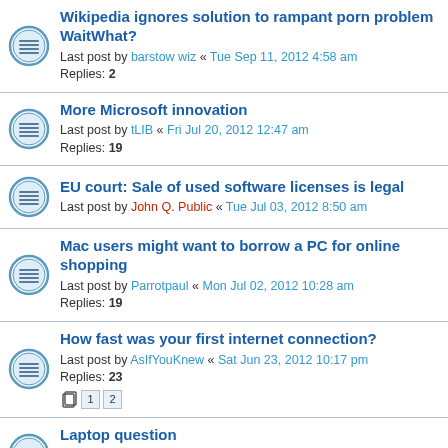Wikipedia ignores solution to rampant porn problem WaitWhat? Last post by barstow wiz « Tue Sep 11, 2012 4:58 am Replies: 2
More Microsoft innovation Last post by tLIB « Fri Jul 20, 2012 12:47 am Replies: 19
EU court: Sale of used software licenses is legal Last post by John Q. Public « Tue Jul 03, 2012 8:50 am
Mac users might want to borrow a PC for online shopping Last post by Parrotpaul « Mon Jul 02, 2012 10:28 am Replies: 19
How fast was your first internet connection? Last post by AsIfYouKnew « Sat Jun 23, 2012 10:17 pm Replies: 23
Laptop question Last post by SoMelo « Thu Jun 21, 2012 4:12 am Replies: 5
Guilty by what you post